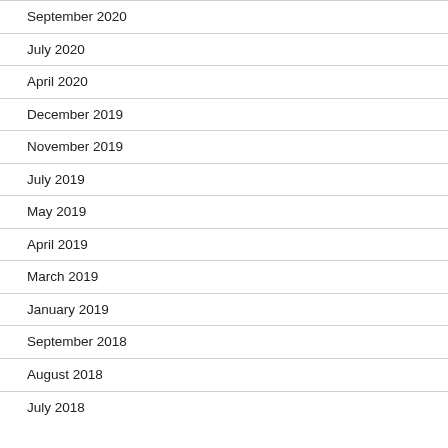September 2020
July 2020
April 2020
December 2019
November 2019
July 2019
May 2019
April 2019
March 2019
January 2019
September 2018
August 2018
July 2018